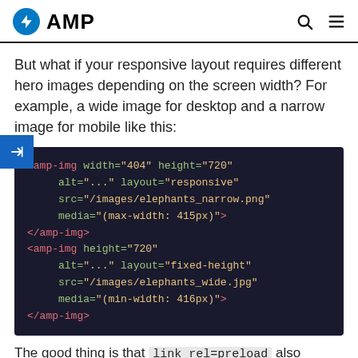AMP
But what if your responsive layout requires different hero images depending on the screen width? For example, a wide image for desktop and a narrow image for mobile like this:
[Figure (screenshot): Code block showing AMP HTML markup with two amp-img elements, one with max-width 415px media query for narrow image and one with min-width 416px for wide image]
The good thing is that link rel=preload also